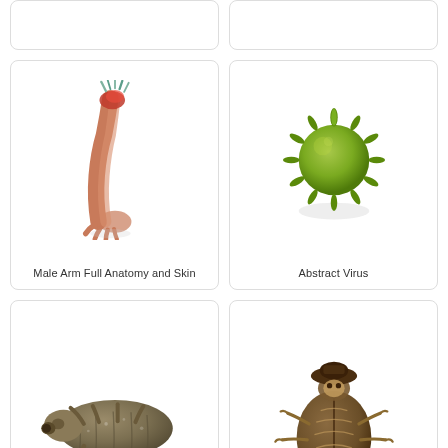[Figure (illustration): Partial top of two cards visible at top of page (cropped)]
[Figure (illustration): 3D render of a male arm showing full anatomy and skin, with muscle/bone exposed at top]
Male Arm Full Anatomy and Skin
[Figure (illustration): 3D render of an abstract spiky green virus particle]
Abstract Virus
[Figure (illustration): 3D render of a tardigrade (water bear), brownish segmented microscopic animal]
[Figure (illustration): 3D render of a beetle with visible skeleton/anatomy underneath, shown standing upright]